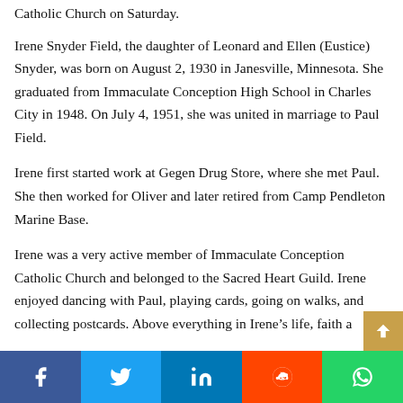Catholic Church on Saturday.
Irene Snyder Field, the daughter of Leonard and Ellen (Eustice) Snyder, was born on August 2, 1930 in Janesville, Minnesota. She graduated from Immaculate Conception High School in Charles City in 1948. On July 4, 1951, she was united in marriage to Paul Field.
Irene first started work at Gegen Drug Store, where she met Paul. She then worked for Oliver and later retired from Camp Pendleton Marine Base.
Irene was a very active member of Immaculate Conception Catholic Church and belonged to the Sacred Heart Guild. Irene enjoyed dancing with Paul, playing cards, going on walks, and collecting postcards. Above everything in Irene’s life, faith a…